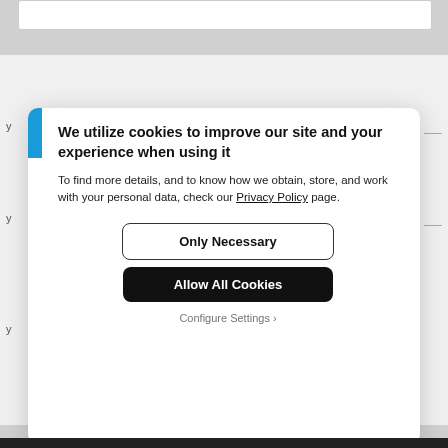We utilize cookies to improve our site and your experience when using it
To find more details, and to know how we obtain, store, and work with your personal data, check our Privacy Policy page.
Only Necessary
Allow All Cookies
Configure Settings ›